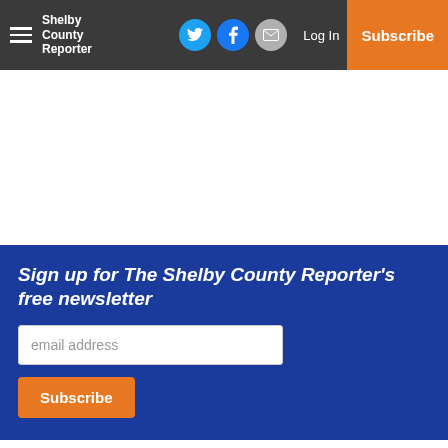Shelby County Reporter — navigation bar with social icons, Log In, Subscribe
Sign up for The Shelby County Reporter's free newsletter
email address
Subscribe
Cornerstone used a strong first half to take a 34-22